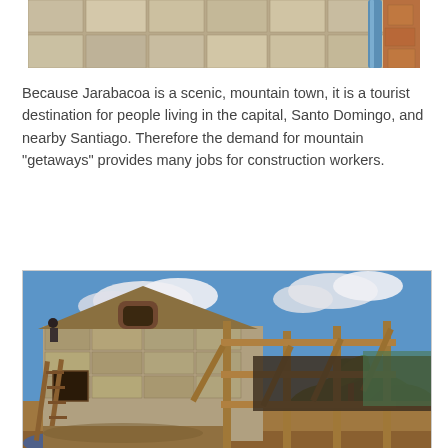[Figure (photo): Partial view of a stone/concrete block wall construction with a blue pipe visible, cropped at top]
Because Jarabacoa is a scenic, mountain town, it is a tourist destination for people living in the capital, Santo Domingo, and nearby Santiago. Therefore the demand for mountain "getaways" provides many jobs for construction workers.
[Figure (photo): Construction site showing a stone house being built with wooden scaffolding, ladders, blue sky with clouds, and palm trees in background]